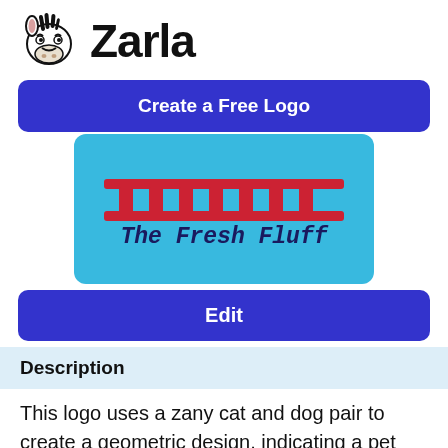Zarla
Create a Free Logo
[Figure (logo): The Fresh Fluff pet grooming logo on a sky blue background with a red fence/comb graphic and bold italic dark blue text reading 'The Fresh Fluff']
Edit
Description
This logo uses a zany cat and dog pair to create a geometric design, indicating a pet grooming business that doesn't take itself too seriously. The bold blue background pairs beautifully with the pink color